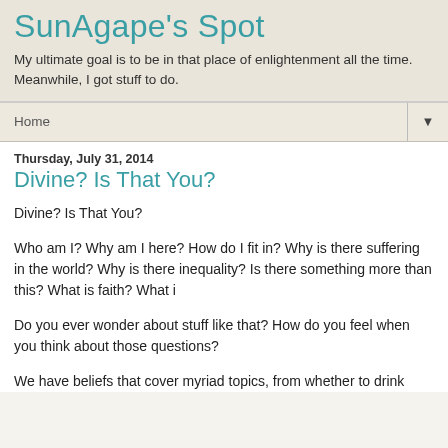SunAgape's Spot
My ultimate goal is to be in that place of enlightenment all the time. Meanwhile, I got stuff to do.
Home
Thursday, July 31, 2014
Divine? Is That You?
Divine? Is That You?
Who am I? Why am I here? How do I fit in? Why is there suffering in the world? Why is there inequality? Is there something more than this? What is faith? What i
Do you ever wonder about stuff like that? How do you feel when you think about those questions?
We have beliefs that cover myriad topics, from whether to drink…